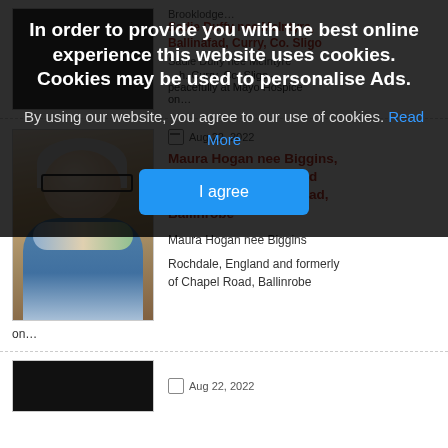[Figure (screenshot): Cookie consent overlay dialog on a news/obituaries website. Semi-transparent dark background with white bold text: 'In order to provide you with the best online experience this website uses cookies. Cookies may be used to personalise Ads.' followed by 'By using our website, you agree to our use of cookies. Read More' link and a blue 'I agree' button.]
Aug 22, 2022
Maura Hogan nee Biggins, Rochdale, England and formerly of Chapel Road, Ballinrobe
Maura Hogan nee Biggins
Rochdale, England and formerly of Chapel Road, Ballinrobe
on…
Aug 22, 2022